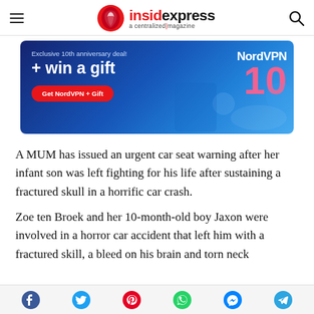insidexpress — a centralized magazine
[Figure (infographic): NordVPN advertisement banner: 'Exclusive 10th anniversary deal! + win a gift' with a red 'Get NordVPN + Gift' button on a dark blue background, NordVPN logo and large pink '10' on the right.]
A MUM has issued an urgent car seat warning after her infant son was left fighting for his life after sustaining a fractured skull in a horrific car crash.
Zoe ten Broek and her 10-month-old boy Jaxon were involved in a horror car accident that left him with a fractured skill, a bleed on his brain and torn neck
Social share icons: Facebook, Twitter, Pinterest, WhatsApp, Messenger, Telegram